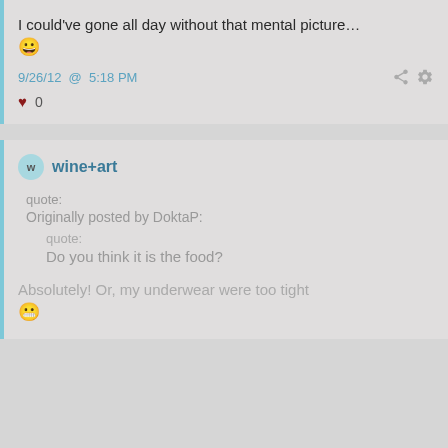I could've gone all day without that mental picture… 😊
9/26/12 @ 5:18 PM
♥ 0
wine+art
quote:
Originally posted by DoktaP:

    quote:
    Do you think it is the food?
Absolutely! Or, my underwear were too tight 😬